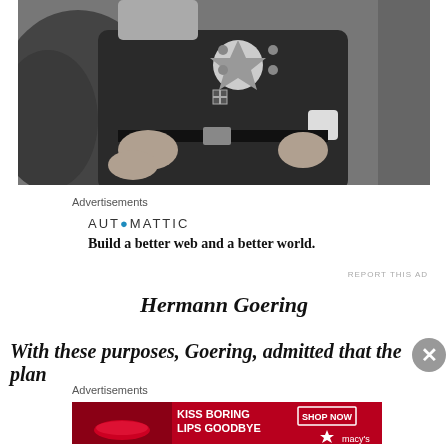[Figure (photo): Black and white photograph of Hermann Goering in military uniform with medals and decorations, seated, hands visible]
Advertisements
AUTOMATTIC
Build a better web and a better world.
REPORT THIS AD
Hermann Goering
With these purposes, Goering, admitted that the plan
Advertisements
[Figure (photo): Advertisement banner for Macy's showing red lips image with text KISS BORING LIPS GOODBYE and SHOP NOW button with Macy's star logo]